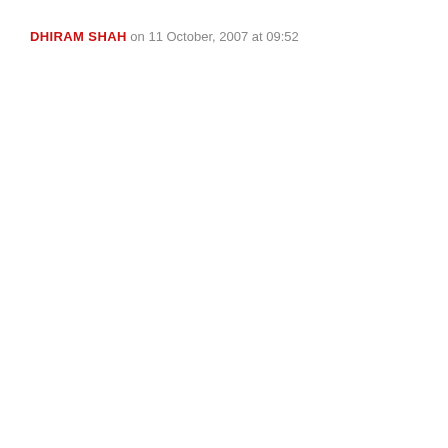DHIRAM SHAH on 11 October, 2007 at 09:52